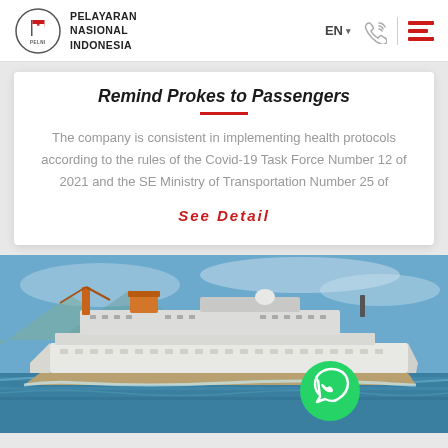PELAYARAN NASIONAL INDONESIA (PELNI)
Remind Prokes to Passengers
The company is consistent in implementing health protocols according to the rules of the Covid-19 Task Force Number 12 of 2021 and the SE Ministry of Transportation Number 25 of
See Detail
[Figure (photo): A PELNI passenger ship sailing on blue ocean water with mountains in the background and a WhatsApp button overlay]